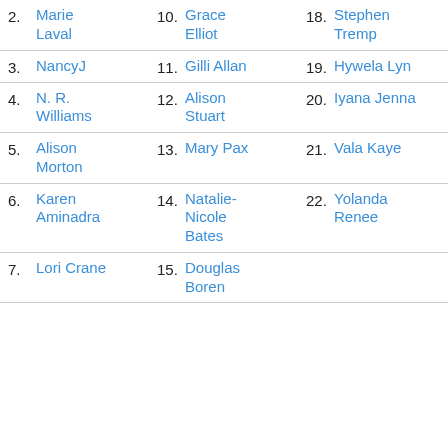2. Marie Laval
10. Grace Elliot
18. Stephen Tremp
3. NancyJ
11. Gilli Allan
19. Hywela Lyn
4. N. R. Williams
12. Alison Stuart
20. Iyana Jenna
5. Alison Morton
13. Mary Pax
21. Vala Kaye
6. Karen Aminadra
14. Natalie-Nicole Bates
22. Yolanda Renee
7. Lori Crane
15. Douglas Boren